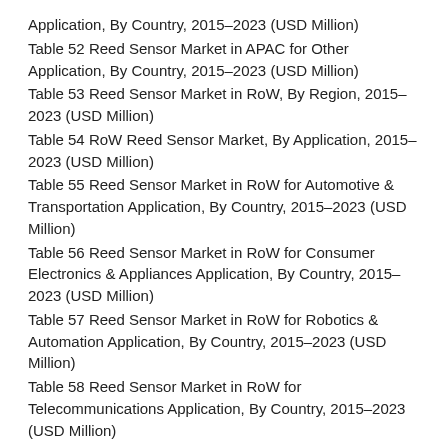Application, By Country, 2015–2023 (USD Million)
Table 52 Reed Sensor Market in APAC for Other Application, By Country, 2015–2023 (USD Million)
Table 53 Reed Sensor Market in RoW, By Region, 2015–2023 (USD Million)
Table 54 RoW Reed Sensor Market, By Application, 2015–2023 (USD Million)
Table 55 Reed Sensor Market in RoW for Automotive & Transportation Application, By Country, 2015–2023 (USD Million)
Table 56 Reed Sensor Market in RoW for Consumer Electronics & Appliances Application, By Country, 2015–2023 (USD Million)
Table 57 Reed Sensor Market in RoW for Robotics & Automation Application, By Country, 2015–2023 (USD Million)
Table 58 Reed Sensor Market in RoW for Telecommunications Application, By Country, 2015–2023 (USD Million)
Table 59 Reed Sensor Market in RoW for Healthcare